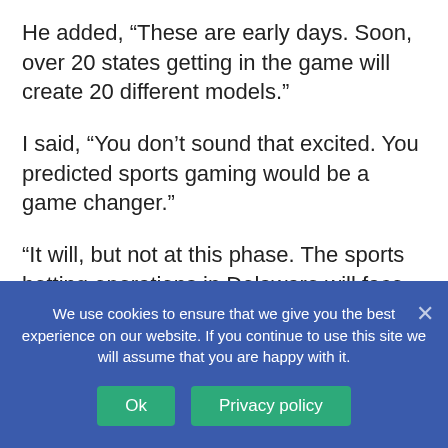He added, “These are early days. Soon, over 20 states getting in the game will create 20 different models.”
I said, “You don’t sound that excited. You predicted sports gaming would be a game changer.”
“It will, but not at this phase. The sports betting operations in Delaware will face the same obstacles that racetracks are living through — geography, economics, and convenience. The concept of brick and mortar sports gambling...
We use cookies to ensure that we give you the best experience on our website. If you continue to use this site we will assume that you are happy with it.